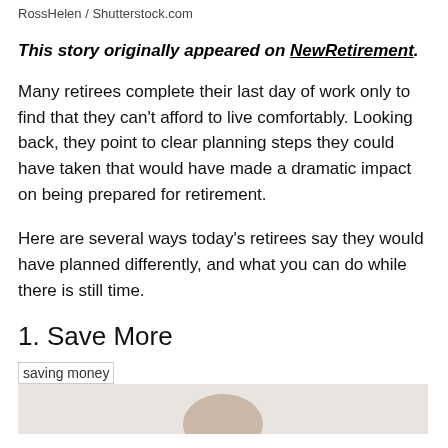RossHelen / Shutterstock.com
This story originally appeared on NewRetirement.
Many retirees complete their last day of work only to find that they can't afford to live comfortably. Looking back, they point to clear planning steps they could have taken that would have made a dramatic impact on being prepared for retirement.
Here are several ways today's retirees say they would have planned differently, and what you can do while there is still time.
1. Save More
[Figure (photo): Image of saving money — broken image icon with label 'saving money' and partial photo of coins/piggy bank below]